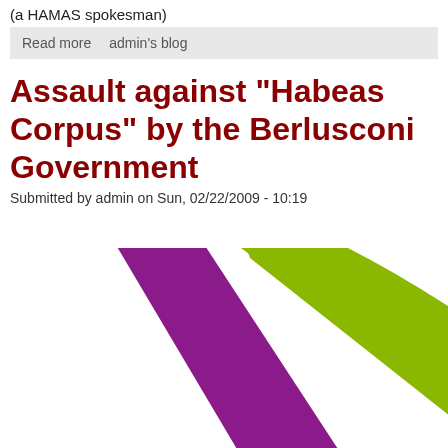(a HAMAS spokesman)
Read more   admin's blog
Assault against "Habeas Corpus" by the Berlusconi Government
Submitted by admin on Sun, 02/22/2009 - 10:19
[Figure (illustration): Two overlapping diagonal stripes forming an X shape: one purple/magenta stripe and one yellow-green stripe crossing each other]